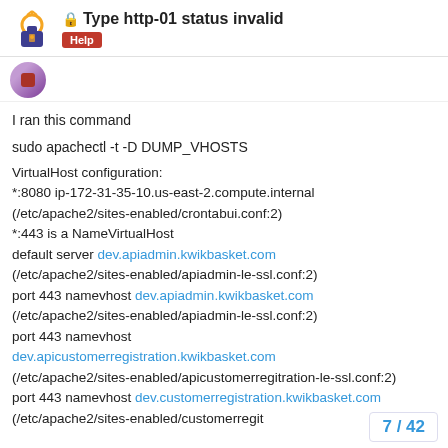🔒 Type http-01 status invalid — Help
I ran this command
sudo apachectl -t -D DUMP_VHOSTS
VirtualHost configuration:
*:8080 ip-172-31-35-10.us-east-2.compute.internal (/etc/apache2/sites-enabled/crontabui.conf:2)
*:443 is a NameVirtualHost
default server dev.apiadmin.kwikbasket.com (/etc/apache2/sites-enabled/apiadmin-le-ssl.conf:2)
port 443 namevhost dev.apiadmin.kwikbasket.com (/etc/apache2/sites-enabled/apiadmin-le-ssl.conf:2)
port 443 namevhost dev.apicustomerregistration.kwikbasket.com (/etc/apache2/sites-enabled/apicustomerregitration-le-ssl.conf:2)
port 443 namevhost dev.customerregistration.kwikbasket.com (/etc/apache2/sites-enabled/customerregit...
port 443 namevhost dev.delivery.kwikbask...
7 / 42